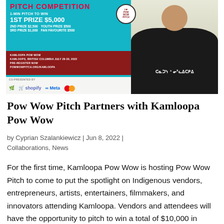[Figure (photo): Banner advertisement for Pow Wow Pitch Competition at Kamloopa Pow Wow, Kamloops, British Columbia, July 29-30, 2022. Shows prize information: 1st Prize $5,000, 2nd Prize $2,500, 3rd Prize $1,000, Youth Prize $500, Fan Favourite $500. Features a person wearing a black hoodie with Indigenous syllabics text. Co-presented by logos including Shopify, Meta, and Mastercard.]
Pow Wow Pitch Partners with Kamloopa Pow Wow
by Cyprian Szalankiewicz | Jun 8, 2022 | Collaborations, News
For the first time, Kamloopa Pow Wow is hosting Pow Wow Pitch to come to put the spotlight on Indigenous vendors, entrepreneurs, artists, entertainers, filmmakers, and innovators attending Kamloopa. Vendors and attendees will have the opportunity to pitch to win a total of $10,000 in cash prizes to take their ideas and businesses to the next level.